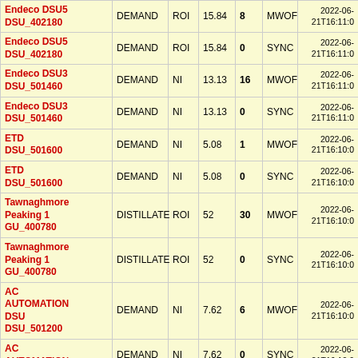| Device | Type | Market | Price | Qty | Mode | Timestamp |
| --- | --- | --- | --- | --- | --- | --- |
| Endeco DSU5 DSU_402180 | DEMAND | ROI | 15.84 | 8 | MWOF | 2022-06-21T16:11:0 |
| Endeco DSU5 DSU_402180 | DEMAND | ROI | 15.84 | 0 | SYNC | 2022-06-21T16:11:0 |
| Endeco DSU3 DSU_501460 | DEMAND | NI | 13.13 | 16 | MWOF | 2022-06-21T16:11:0 |
| Endeco DSU3 DSU_501460 | DEMAND | NI | 13.13 | 0 | SYNC | 2022-06-21T16:11:0 |
| ETD DSU_501600 | DEMAND | NI | 5.08 | 1 | MWOF | 2022-06-21T16:10:0 |
| ETD DSU_501600 | DEMAND | NI | 5.08 | 0 | SYNC | 2022-06-21T16:10:0 |
| Tawnaghmore Peaking 1 GU_400780 | DISTILLATE | ROI | 52 | 30 | MWOF | 2022-06-21T16:10:0 |
| Tawnaghmore Peaking 1 GU_400780 | DISTILLATE | ROI | 52 | 0 | SYNC | 2022-06-21T16:10:0 |
| AC AUTOMATION DSU DSU_501200 | DEMAND | NI | 7.62 | 6 | MWOF | 2022-06-21T16:10:0 |
| AC AUTOMATION DSU ... | DEMAND | NI | 7.62 | 0 | SYNC | 2022-06-21T16:10:0 |